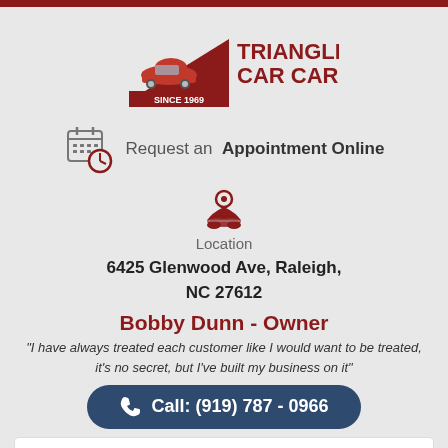[Figure (logo): Triangle Car Care logo with red car on triangle, text TRIANGLE CAR CARE SINCE 1969]
Request an Appointment Online
[Figure (illustration): Map/location pin icon in dark red]
Location
6425 Glenwood Ave, Raleigh, NC 27612
Bobby Dunn - Owner
"I have always treated each customer like I would want to be treated, it's no secret, but I've built my business on it"
Call: (919) 787 - 0966
— Main Menu —